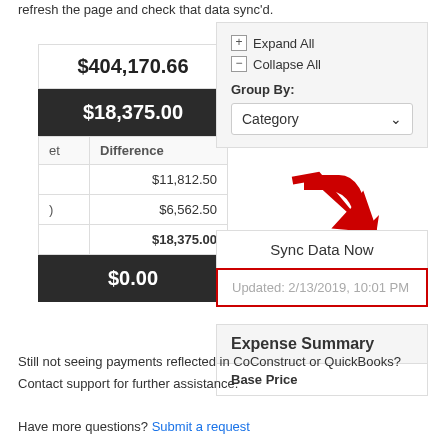refresh the page and check that data sync'd.
[Figure (screenshot): A partial screenshot of a CoConstruct budget interface showing two panel areas. Left panel shows financial amounts: $404,170.66 in white box, $18,375.00 in dark box, a table with columns 'et' and 'Difference' showing rows $11,812.50, $6,562.50, $18,375.00, and a dark box with $0.00. Right panel shows expand/collapse controls, a Group By dropdown set to 'Category', a red arrow pointing to a 'Sync Data Now' button, an 'Updated: 2/13/2019, 10:01 PM' field highlighted with a red border, and an Expense Summary section with Base Price row.]
Still not seeing payments reflected in CoConstruct or QuickBooks?  Contact support for further assistance.
Have more questions? Submit a request